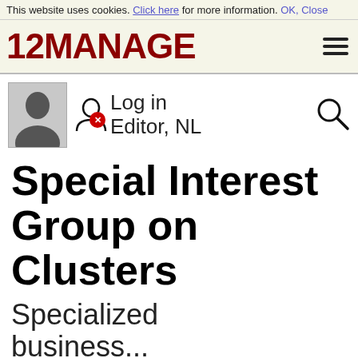This website uses cookies. Click here for more information. OK, Close
[Figure (logo): 12MANAGE logo in dark red/maroon bold text with hamburger menu icon]
[Figure (photo): Silhouette avatar of a person in suit, with login icon and Editor NL text, error badge, and search icon]
Special Interest Group on Clusters
Specialized business...